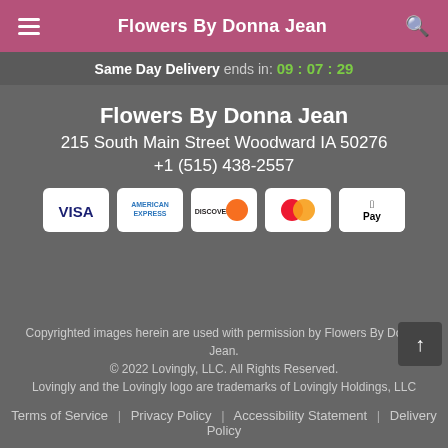Flowers By Donna Jean
Same Day Delivery ends in: 09:07:29
Flowers By Donna Jean
215 South Main Street Woodward IA 50276
+1 (515) 438-2557
[Figure (logo): Payment method icons: VISA, American Express, Discover, Mastercard, Apple Pay]
Copyrighted images herein are used with permission by Flowers By Donna Jean.
© 2022 Lovingly, LLC. All Rights Reserved.
Lovingly and the Lovingly logo are trademarks of Lovingly Holdings, LLC
Terms of Service | Privacy Policy | Accessibility Statement | Delivery Policy